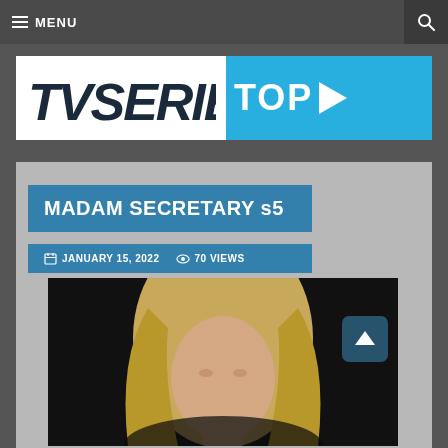MENU | Search
[Figure (logo): TVSeries TOP logo with white background for TVSERIES text and blue background for TOP with play button triangle]
MADAM SECRETARY s5
JANUARY 15, 2022  70 VIEWS
[Figure (photo): Close-up photo of a woman with blonde hair against a dark background]